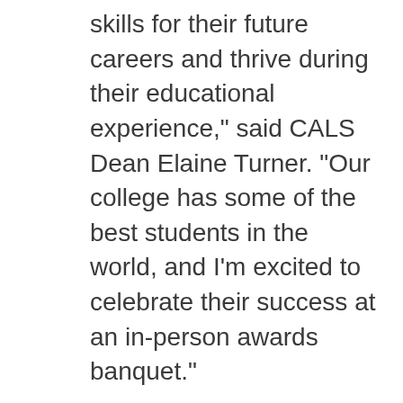skills for their future careers and thrive during their educational experience," said CALS Dean Elaine Turner. "Our college has some of the best students in the world, and I'm excited to celebrate their success at an in-person awards banquet."
The following students were recognized as some of the most exceptional in the college and show exemplary scholarship, leadership and dedication to the community:
Carley Rusch, a nutritional sciences Ph.D. student from Safety Harbor, Fla., received the Jimmy C. Cheek Graduate